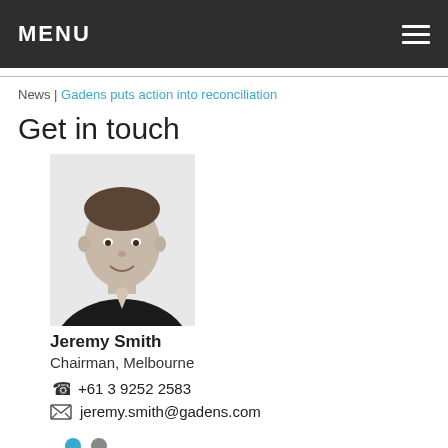MENU
News | Gadens puts action into reconciliation
Get in touch
[Figure (photo): Black and white professional headshot of Jeremy Smith, a man in a dark suit with a light tie, smiling.]
Jeremy Smith
Chairman, Melbourne
+61 3 9252 2583
jeremy.smith@gadens.com